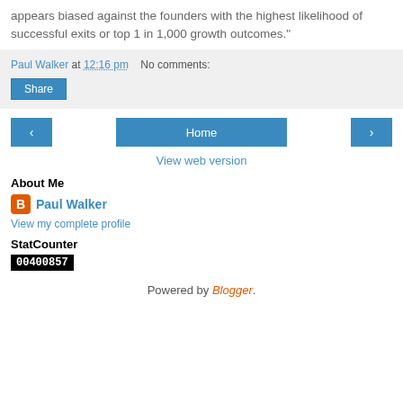appears biased against the founders with the highest likelihood of successful exits or top 1 in 1,000 growth outcomes."
Paul Walker at 12:16 pm   No comments:
Share
‹  Home  ›
View web version
About Me
Paul Walker
View my complete profile
StatCounter
00400857
Powered by Blogger.